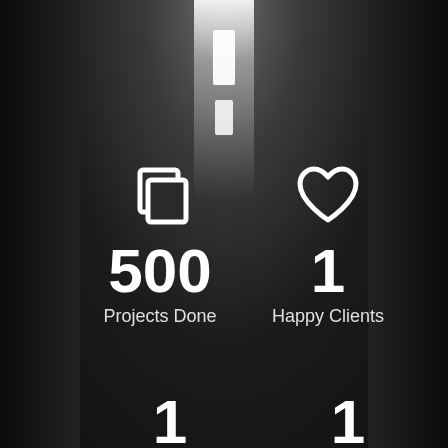[Figure (infographic): Dark server corridor background with overhead fluorescent lighting creating a perspective tunnel effect]
[Figure (infographic): Statistics infographic overlay with 4 stat blocks: 500 Projects Done (copy icon), 1 Happy Clients (heart icon), 1 (award/medal icon, bottom left partially visible), 1 (globe icon, bottom right partially visible)]